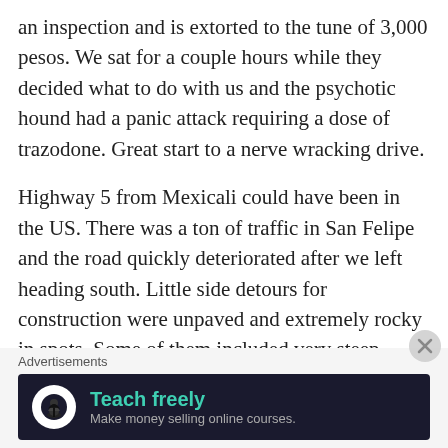an inspection and is extorted to the tune of 3,000 pesos. We sat for a couple hours while they decided what to do with us and the psychotic hound had a panic attack requiring a dose of trazodone. Great start to a nerve wracking drive.
Highway 5 from Mexicali could have been in the US. There was a ton of traffic in San Felipe and the road quickly deteriorated after we left heading south. Little side detours for construction were unpaved and extremely rocky in spots. Some of them included very steep climbs and descents and I thought I would need 4WD a couple times. A large unpaved section that continued for a few miles was a little
Advertisements
[Figure (illustration): Advertisement banner with dark background showing 'Teach freely - Make money selling online courses.' with a white circle icon containing a tree/person silhouette on the left.]